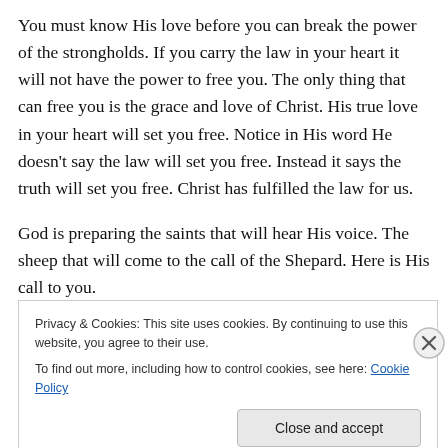You must know His love before you can break the power of the strongholds. If you carry the law in your heart it will not have the power to free you. The only thing that can free you is the grace and love of Christ. His true love in your heart will set you free. Notice in His word He doesn't say the law will set you free. Instead it says the truth will set you free. Christ has fulfilled the law for us.
God is preparing the saints that will hear His voice. The sheep that will come to the call of the Shepard. Here is His call to you.
Privacy & Cookies: This site uses cookies. By continuing to use this website, you agree to their use.
To find out more, including how to control cookies, see here: Cookie Policy
Close and accept